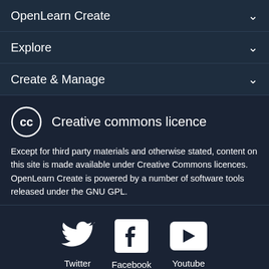OpenLearn Create
Explore
Create & Manage
Creative commons licence
Except for third party materials and otherwise stated, content on this site is made available under Creative Commons licences. OpenLearn Create is powered by a number of software tools released under the GNU GPL.
[Figure (logo): Social media icons for Twitter, Facebook, and Youtube]
©2017. All rights reserved. The Open University is incorporated by Royal Charter (RC 000391), an exempt charity in England & Wales and a charity registered in Scotland (SC 038302). The Open University is authorised and